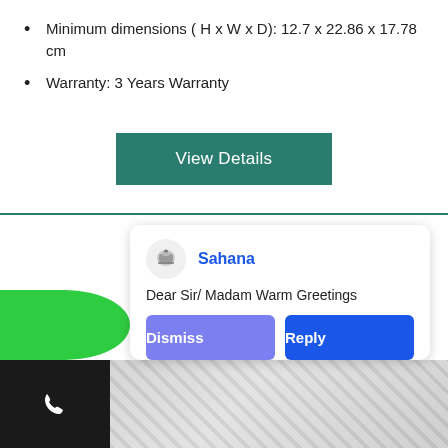Minimum dimensions ( H x W x D): 12.7 x 22.86 x 17.78 cm
Warranty: 3 Years Warranty
View Details
Sahana
Dear Sir/ Madam Warm Greetings
Dismiss
Reply